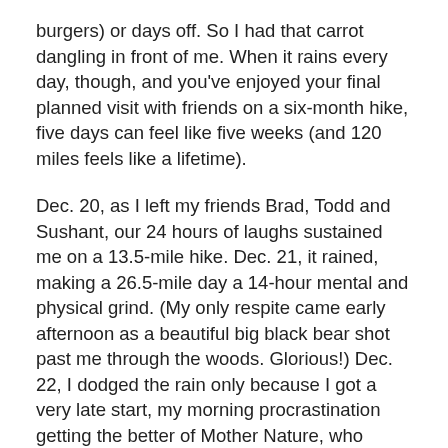burgers) or days off. So I had that carrot dangling in front of me. When it rains every day, though, and you've enjoyed your final planned visit with friends on a six-month hike, five days can feel like five weeks (and 120 miles feels like a lifetime).
Dec. 20, as I left my friends Brad, Todd and Sushant, our 24 hours of laughs sustained me on a 13.5-mile hike. Dec. 21, it rained, making a 26.5-mile day a 14-hour mental and physical grind. (My only respite came early afternoon as a beautiful big black bear shot past me through the woods. Glorious!) Dec. 22, I dodged the rain only because I got a very late start, my morning procrastination getting the better of Mother Nature, who turned off the faucet at about noon. I would be dry, but I would be out late, picking my way through jagged rocks and rock-hopping streams till about midnight on a